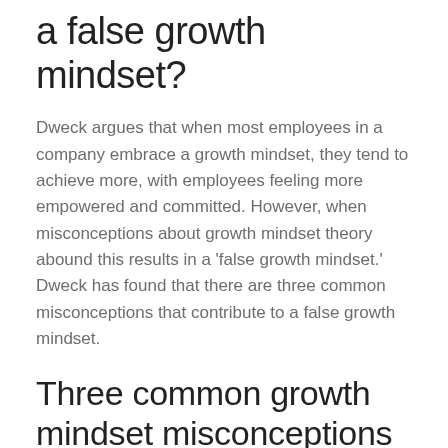a false growth mindset?
Dweck argues that when most employees in a company embrace a growth mindset, they tend to achieve more, with employees feeling more empowered and committed. However, when misconceptions about growth mindset theory abound this results in a ‘false growth mindset.’ Dweck has found that there are three common misconceptions that contribute to a false growth mindset.
Three common growth mindset misconceptions
1. I already have it and I always have.
This occurs when people confuse a growth mindset with being open-minded, flexible, or having a positive outlook...